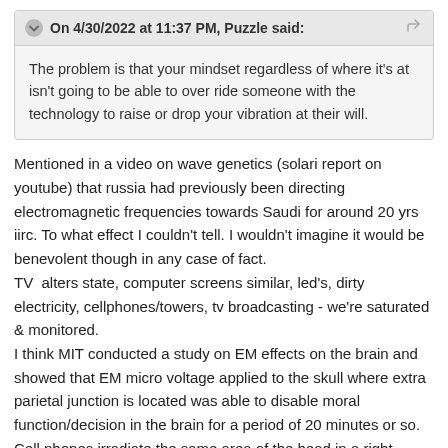On 4/30/2022 at 11:37 PM, Puzzle said: The problem is that your mindset regardless of where it's at isn't going to be able to over ride someone with the technology to raise or drop your vibration at their will.
Mentioned in a video on wave genetics (solari report on youtube) that russia had previously been directing electromagnetic frequencies towards Saudi for around 20 yrs iirc. To what effect I couldn't tell. I wouldn't imagine it would be benevolent though in any case of fact.
TV  alters state, computer screens similar, led's, dirty electricity, cellphones/towers, tv broadcasting - we're saturated & monitored.
I think MIT conducted a study on EM effects on the brain and showed that EM micro voltage applied to the skull where extra parietal junction is located was able to disable moral function/decision in the brain for a period of 20 minutes or so. Cell phones irradiate the same area of the head in a right handed person though that is my speculation lol.